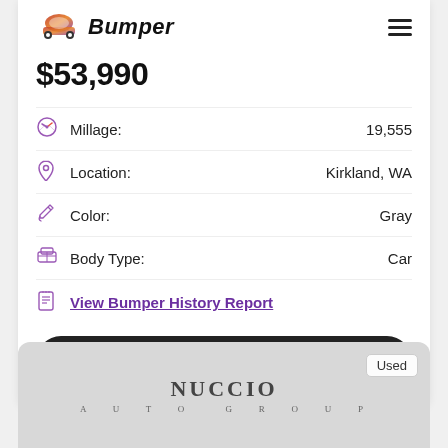Bumper
$53,990
Millage: 19,555
Location: Kirkland, WA
Color: Gray
Body Type: Car
View Bumper History Report
Check Availability
[Figure (logo): Nuccio Auto Group dealer logo on gray background with Used badge]